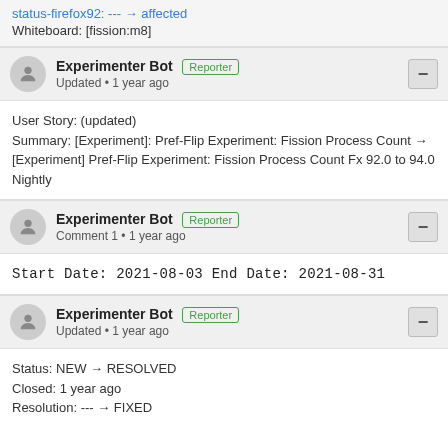status-firefox92: --- → affected
Whiteboard: [fission:m8]
Experimenter Bot [Reporter]
Updated • 1 year ago
User Story: (updated)
Summary: [Experiment]: Pref-Flip Experiment: Fission Process Count → [Experiment] Pref-Flip Experiment: Fission Process Count Fx 92.0 to 94.0 Nightly
Experimenter Bot [Reporter]
Comment 1 • 1 year ago
Start Date: 2021-08-03 End Date: 2021-08-31
Experimenter Bot [Reporter]
Updated • 1 year ago
Status: NEW → RESOLVED
Closed: 1 year ago
Resolution: --- → FIXED